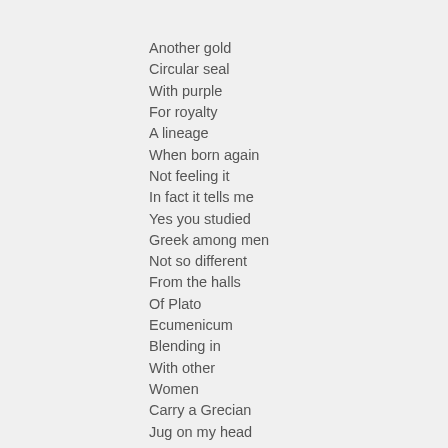Another gold
Circular seal
With purple
For royalty
A lineage
When born again
Not feeling it
In fact it tells me
Yes you studied
Greek among men
Not so different
From the halls
Of Plato
Ecumenicum
Blending in
With other
Women
Carry a Grecian
Jug on my head
So as not to attract
Attention